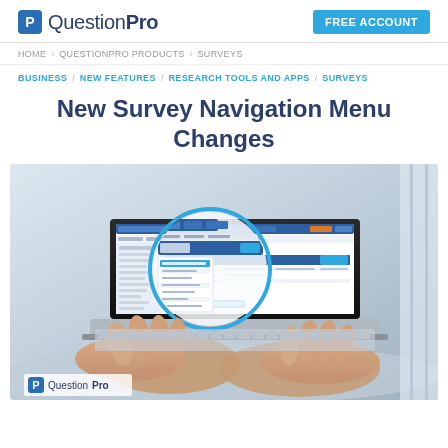QuestionPro | FREE ACCOUNT
HOME > QUESTIONPRO PRODUCTS > SURVEYS
BUSINESS / NEW FEATURES / RESEARCH TOOLS AND APPS / SURVEYS
New Survey Navigation Menu Changes
[Figure (screenshot): Person typing on a laptop showing QuestionPro survey navigation interface with a magnified circle highlighting the menu area. QuestionPro logo visible in bottom left corner.]